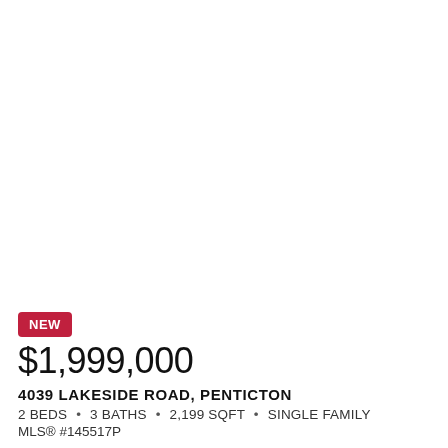[Figure (photo): Property photo placeholder - white/blank area for 4039 Lakeside Road, Penticton listing]
NEW
$1,999,000
4039 LAKESIDE ROAD, PENTICTON
2 BEDS • 3 BATHS • 2,199 SQFT • SINGLE FAMILY
MLS® #145517P